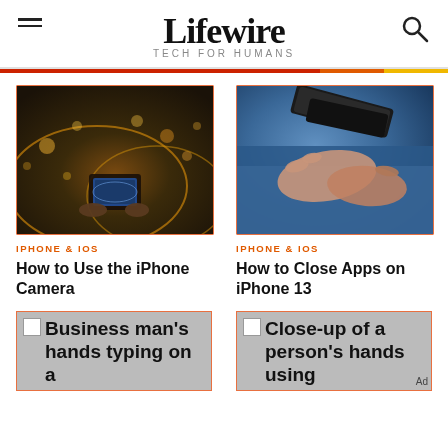Lifewire — TECH FOR HUMANS
[Figure (photo): Photo of person holding smartphone photographing Golden Gate Bridge at night with bokeh lights]
IPHONE & IOS
How to Use the iPhone Camera
[Figure (photo): Close-up photo of hands holding a smartphone, person wearing blue clothing]
IPHONE & IOS
How to Close Apps on iPhone 13
[Figure (photo): Business man's hands typing on a keyboard - partially visible ad image]
[Figure (photo): Close-up of a person's hands using a device - partially visible ad image]